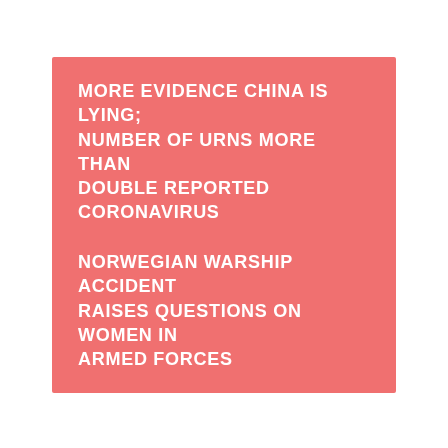MORE EVIDENCE CHINA IS LYING; NUMBER OF URNS MORE THAN DOUBLE REPORTED CORONAVIRUS DEATHS
NORWEGIAN WARSHIP ACCIDENT RAISES QUESTIONS ON WOMEN IN ARMED FORCES